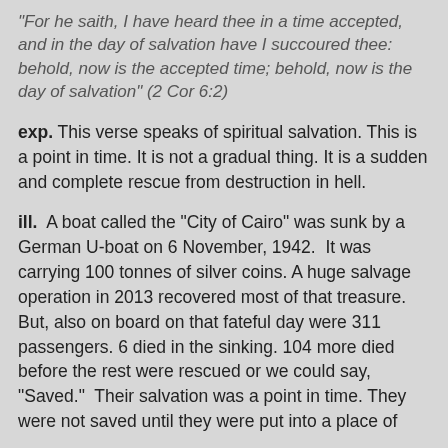"For he saith, I have heard thee in a time accepted, and in the day of salvation have I succoured thee: behold, now is the accepted time; behold, now is the day of salvation" (2 Cor 6:2)
exp. This verse speaks of spiritual salvation. This is a point in time. It is not a gradual thing. It is a sudden and complete rescue from destruction in hell.
ill. A boat called the "City of Cairo" was sunk by a German U-boat on 6 November, 1942. It was carrying 100 tonnes of silver coins. A huge salvage operation in 2013 recovered most of that treasure. But, also on board on that fateful day were 311 passengers. 6 died in the sinking. 104 more died before the rest were rescued or we could say, "Saved." Their salvation was a point in time. They were not saved until they were put into a place of